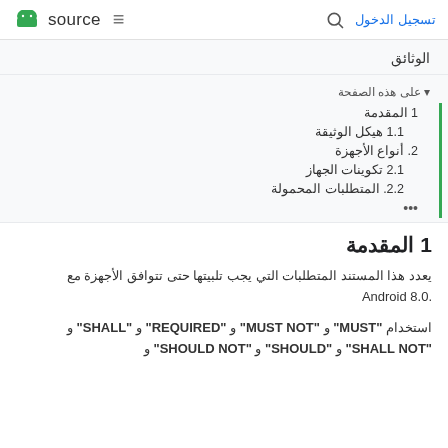source  تسجيل الدخول
الوثائق
على هذه الصفحة
1 المقدمة
1.1 هيكل الوثيقة
2. أنواع الأجهزة
2.1 تكوينات الجهاز
2.2. المتطلبات المحمولة
1 المقدمة
يعدد هذا المستند المتطلبات التي يجب تلبيتها حتى تتوافق الأجهزة مع Android 8.0.
استخدام "MUST" و "MUST NOT" و "REQUIRED" و "SHALL" و "SHALL NOT" و "SHOULD" و "SHOULD NOT" و